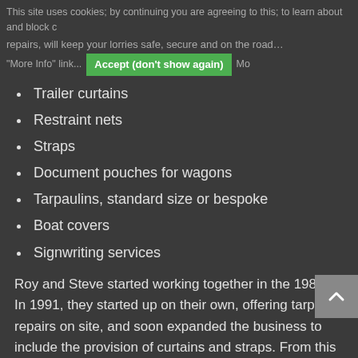This site uses cookies; by continuing you are agreeing to this; to learn about and block c repairs, will keep your lorries safe, secure and on the road… "More Info" link... Accept (don't show again) Mo
Our fully customisable range includes:
Trailer curtains
Restraint nets
Straps
Document pouches for wagons
Tarpaulins, standard size or bespoke
Boat covers
Signwriting services
Roy and Steve started working together in the 1980s. In 1991, they started up on their own, offering tarpaulin repairs on site, and soon expanded the business to include the provision of curtains and straps. From this small start, and for the past eleven years including Roy's son, they now supply curtainsides and restraints to companies in the North West and beyond. Their bespoke funfair covers can be found over the world!
Call or email to discuss your